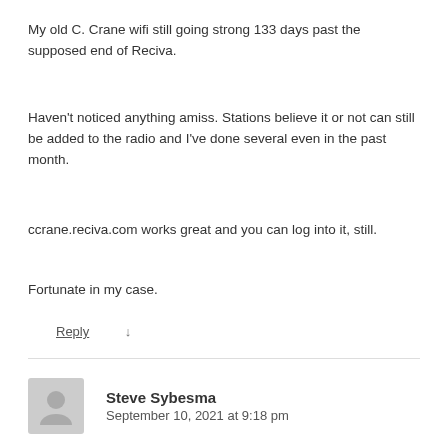My old C. Crane wifi still going strong 133 days past the supposed end of Reciva.
Haven't noticed anything amiss. Stations believe it or not can still be added to the radio and I've done several even in the past month.
ccrane.reciva.com works great and you can log into it, still.
Fortunate in my case.
Reply ↓
Steve Sybesma
September 10, 2021 at 9:18 pm